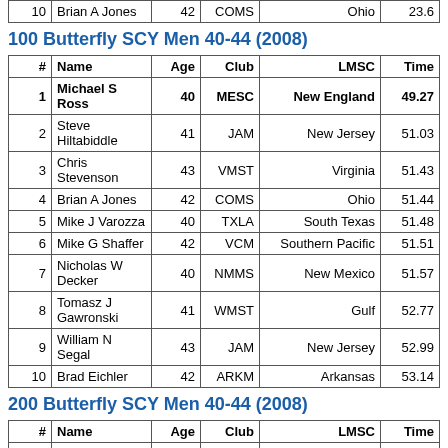| # | Name | Age | Club | LMSC | Time |
| --- | --- | --- | --- | --- | --- |
| 10 | Brian A Jones | 42 | COMS | Ohio | 23.6 |
100 Butterfly SCY Men 40-44 (2008)
| # | Name | Age | Club | LMSC | Time |
| --- | --- | --- | --- | --- | --- |
| 1 | Michael S Ross | 40 | MESC | New England | 49.27 |
| 2 | Steve Hiltabiddle | 41 | JAM | New Jersey | 51.03 |
| 3 | Chris Stevenson | 43 | VMST | Virginia | 51.43 |
| 4 | Brian A Jones | 42 | COMS | Ohio | 51.44 |
| 5 | Mike J Varozza | 40 | TXLA | South Texas | 51.48 |
| 6 | Mike G Shaffer | 42 | VCM | Southern Pacific | 51.51 |
| 7 | Nicholas W Decker | 40 | NMMS | New Mexico | 51.57 |
| 8 | Tomasz J Gawronski | 41 | WMST | Gulf | 52.77 |
| 9 | William N Segal | 43 | JAM | New Jersey | 52.99 |
| 10 | Brad Eichler | 42 | ARKM | Arkansas | 53.14 |
200 Butterfly SCY Men 40-44 (2008)
| # | Name | Age | Club | LMSC | Time |
| --- | --- | --- | --- | --- | --- |
| 1 | Mike G Shaffer | 42 | VCM | Southern Pacific | 1:54. |
| 2 | Chris Stevenson | 43 | VMST | Virginia | 1:55. |